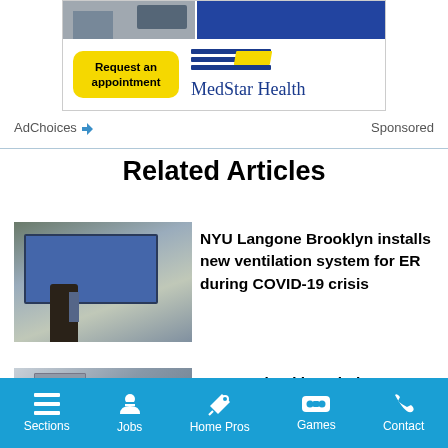[Figure (infographic): MedStar Health advertisement banner with 'Request an appointment' yellow button and MedStar Health logo with blue and yellow stripes]
AdChoices ▷   Sponsored
Related Articles
[Figure (photo): Construction workers installing large blue ventilation/HVAC unit on a scaffold outside a building]
NYU Langone Brooklyn installs new ventilation system for ER during COVID-19 crisis
[Figure (photo): Exterior photo of a multi-story hospital building]
Coney Island hospital
Sections   Jobs   Home Pros   Games   Contact